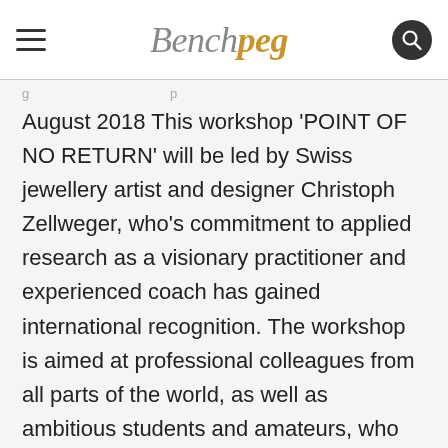Benchpeg
August 2018 This workshop 'POINT OF NO RETURN' will be led by Swiss jewellery artist and designer Christoph Zellweger, who's commitment to applied research as a visionary practitioner and experienced coach has gained international recognition. The workshop is aimed at professional colleagues from all parts of the world, as well as ambitious students and amateurs, who wish to progress their work and to give direction to their practice. Point of No Return Get going, get started, carry on, stretch far,